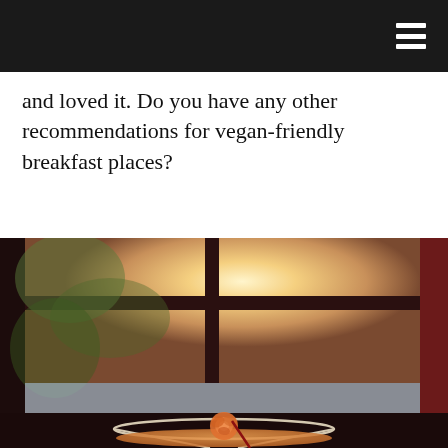[navigation bar with hamburger menu]
and loved it. Do you have any other recommendations for vegan-friendly breakfast places?
[Figure (photo): A cocktail glass with an orange rose garnish and a dark straw, set against a blurred window with warm sunset light and dark red window frames visible in the background.]